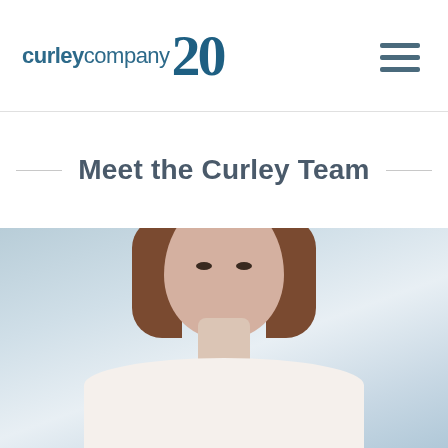curleycompany 20
Meet the Curley Team
[Figure (photo): Professional headshot of a woman with brown hair against a light blue background]